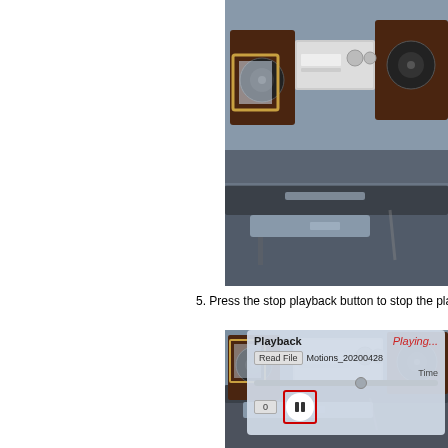[Figure (screenshot): Top screenshot showing a virtual room with speakers, frames, and audio equipment on a dark shelf, viewed from an angle. Right half of page, upper portion.]
5. Press the stop playback button to stop the playing
[Figure (screenshot): Screenshot of Playback UI panel showing 'Playing...' status in red italic, a Read File button, filename Motions_20200428, a Time label, a slider, input field showing 0, and a pause button highlighted with a red rectangle border. Below the panel is the virtual room scene again.]